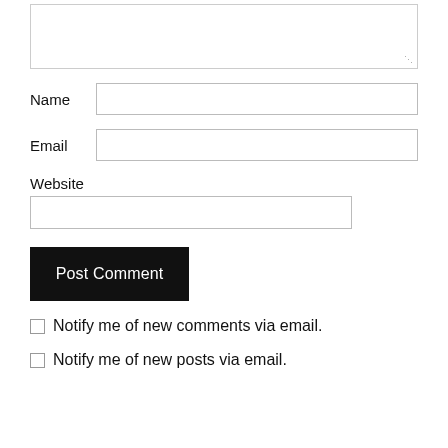[Figure (screenshot): Textarea input box with resize handle at bottom right]
Name
[Figure (screenshot): Name text input field]
Email
[Figure (screenshot): Email text input field]
Website
[Figure (screenshot): Website text input field]
Post Comment
Notify me of new comments via email.
Notify me of new posts via email.